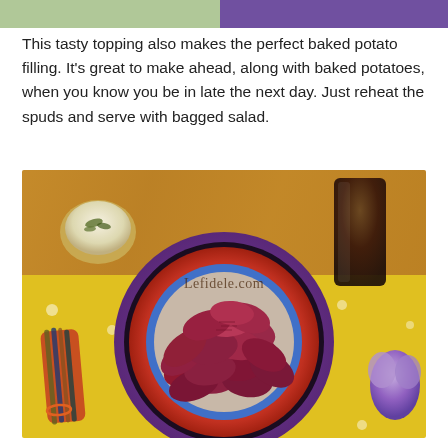[Figure (photo): Top strip showing partial images of food/landscape on left and purple background on right]
This tasty topping also makes the perfect baked potato filling. It's great to make ahead, along with baked potatoes, when you know you be in late the next day. Just reheat the spuds and serve with bagged salad.
[Figure (photo): Overhead photo of a colorful plate (purple outer rim, rainbow concentric rings, blue inner ring) piled with dark reddish-purple ridged chips/crisps, on a yellow polka-dot tablecloth. Surrounding items: a small dip bowl with chive cream on upper left, a tall dark glass of cola on upper right, a rolled striped fabric bundle on lower left, and a purple decorative figure on lower right. Wooden wall in background. Watermark reads 'Lefidele.com'.]